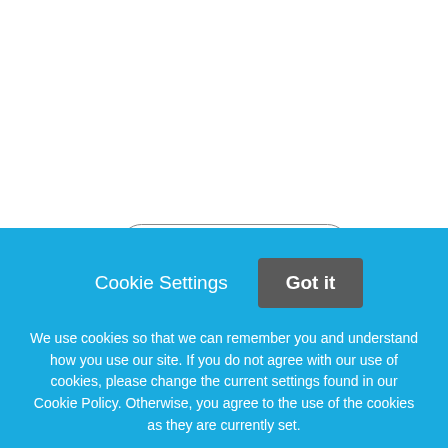Return to Search Results
Outpatient Psychiatric Nurse Practitioner
We offer our Psychiatric Nurse Practitioners: Flexible work
Cookie Settings
Got it
We use cookies so that we can remember you and understand how you use our site. If you do not agree with our use of cookies, please change the current settings found in our Cookie Policy. Otherwise, you agree to the use of the cookies as they are currently set.